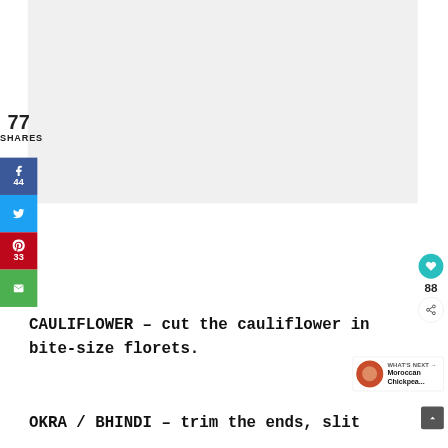[Figure (other): Light gray rectangular placeholder image area at top of page]
77
SHARES
[Figure (infographic): Social sharing sidebar with Facebook (44), Twitter, Pinterest (33), and Email buttons]
[Figure (infographic): Heart/save button showing 88 saves, and a share icon button on right side]
CAULIFLOWER – cut the cauliflower in bite-size florets.
[Figure (other): WHAT'S NEXT arrow label with Moroccan Chickpea... thumbnail and title]
OKRA / BHINDI – trim the ends, slit